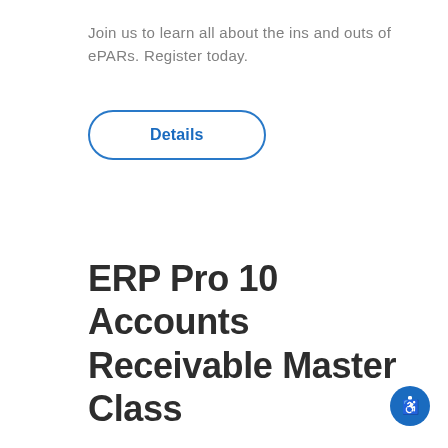Join us to learn all about the ins and outs of ePARs. Register today.
[Figure (other): A pill-shaped button with blue border and blue bold text reading 'Details']
ERP Pro 10 Accounts Receivable Master Class
[Figure (other): Blue circular accessibility icon with a person/wheelchair symbol in white]